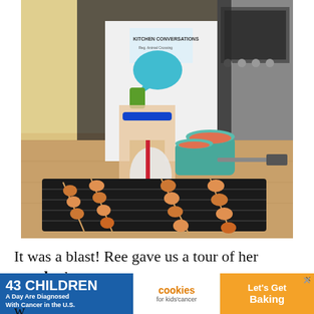[Figure (photo): A person wearing a 'Kitchen Conversations' apron grilling shrimp skewers on a black grill pan indoors, with small teal ramekins of sauce visible on a wooden countertop, and a kitchen with stainless steel appliances in the background.]
It was a blast! Ree gave us a tour of her ranch, the
[Figure (infographic): Advertisement banner: '43 CHILDREN A Day Are Diagnosed With Cancer in the U.S.' with cookies for kids' cancer logo and 'Let's Get Baking' call to action on orange background.]